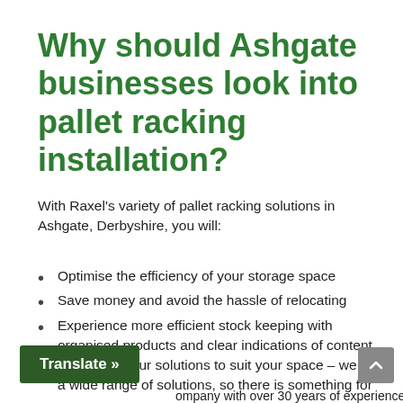Why should Ashgate businesses look into pallet racking installation?
With Raxel's variety of pallet racking solutions in Ashgate, Derbyshire, you will:
Optimise the efficiency of your storage space
Save money and avoid the hassle of relocating
Experience more efficient stock keeping with organised products and clear indications of content
Find one of our solutions to suit your space – we offer a wide range of solutions, so there is something for
ompany with over 30 years of experience